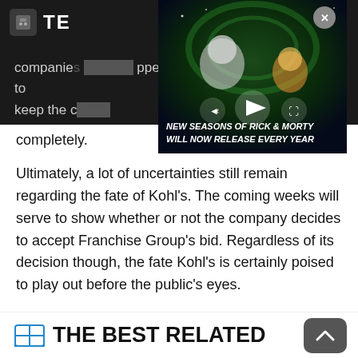TE
[Figure (screenshot): Video player overlay showing animated characters. Caption reads: NEW SEASONS OF RICK & MORTY WILL NOW RELEASE EVERY YEAR. Has close button (X), mute, play, and fullscreen controls.]
companies [obscured] pped to keep the c[obscured] completely.
Ultimately, a lot of uncertainties still remain regarding the fate of Kohl's. The coming weeks will serve to show whether or not the company decides to accept Franchise Group's bid. Regardless of its decision though, the fate Kohl's is certainly poised to play out before the public's eyes.
THE BEST RELATED